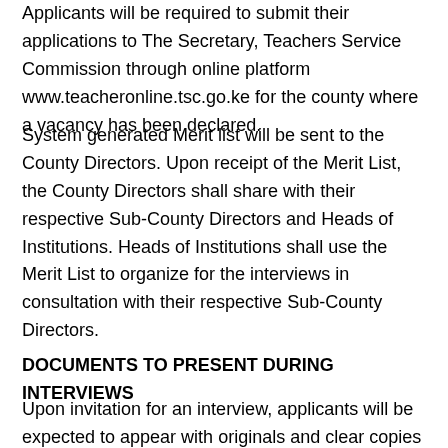Applicants will be required to submit their applications to The Secretary, Teachers Service Commission through online platform www.teacheronline.tsc.go.ke for the county where a vacancy has been declared.
System generated Merit list will be sent to the County Directors. Upon receipt of the Merit List, the County Directors shall share with their respective Sub-County Directors and Heads of Institutions. Heads of Institutions shall use the Merit List to organize for the interviews in consultation with their respective Sub-County Directors.
DOCUMENTS TO PRESENT DURING INTERVIEWS
Upon invitation for an interview, applicants will be expected to appear with originals and clear copies of the following: